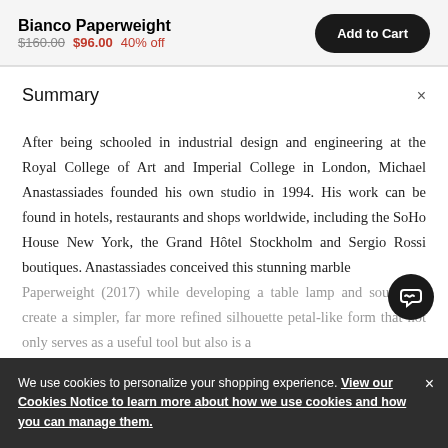Bianco Paperweight
$160.00  $96.00  40% off
Add to Cart
Summary
After being schooled in industrial design and engineering at the Royal College of Art and Imperial College in London, Michael Anastassiades founded his own studio in 1994. His work can be found in hotels, restaurants and shops worldwide, including the SoHo House New York, the Grand Hôtel Stockholm and Sergio Rossi boutiques. Anastassiades conceived this stunning marble Paperweight (2017) while developing a table lamp and sought to create a simpler, far more refined silhouette petal-like form that not only serves as a useful tool but also is a
We use cookies to personalize your shopping experience. View our Cookies Notice to learn more about how we use cookies and how you can manage them.